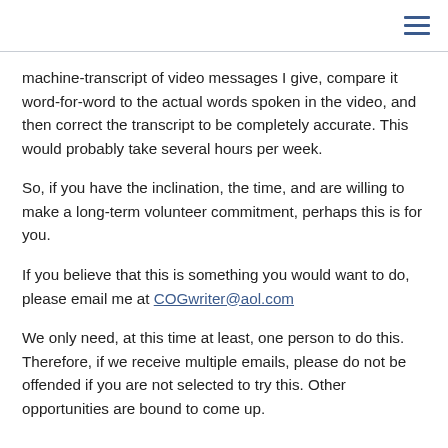machine-transcript of video messages I give, compare it word-for-word to the actual words spoken in the video, and then correct the transcript to be completely accurate. This would probably take several hours per week.
So, if you have the inclination, the time, and are willing to make a long-term volunteer commitment, perhaps this is for you.
If you believe that this is something you would want to do, please email me at COGwriter@aol.com
We only need, at this time at least, one person to do this. Therefore, if we receive multiple emails, please do not be offended if you are not selected to try this. Other opportunities are bound to come up.